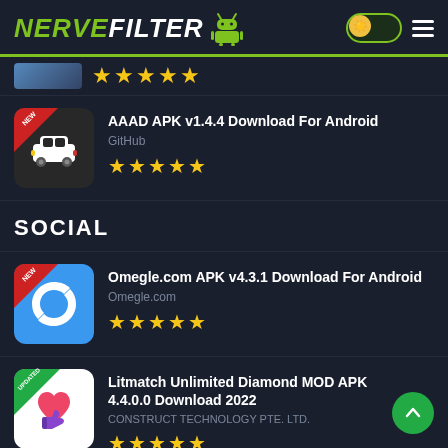NERVEFILTER
[Figure (screenshot): Partial app icon thumbnail with stars rating row]
AAAD APK v1.4.4 Download For Android
GitHub
★★★★★
SOCIAL
Omegle.com APK v4.3.1 Download For Android
Omegle.com
★★★★★
Litmatch Unlimited Diamond MOD APK 4.4.0.0 Download 2022
CONSTRUCT TECHNOLOGY PTE. LTD.
★★★★★